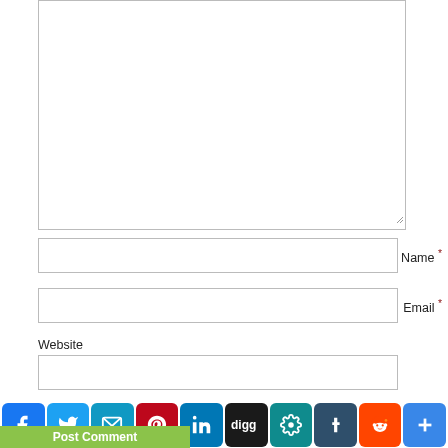[Figure (screenshot): Comment form textarea (large text input box with resize handle)]
Name *
[Figure (screenshot): Name input field (single line text box)]
Email *
[Figure (screenshot): Email input field (single line text box)]
Website
[Figure (screenshot): Website input field (single line text box)]
Save my name, email, and website in this browser for the next time I comment.
[Figure (infographic): Social sharing icon bar: Facebook, Twitter, Email, Pinterest, LinkedIn, Digg, Gab/other, Tumblr, Reddit, Plus/Share]
Post Comment